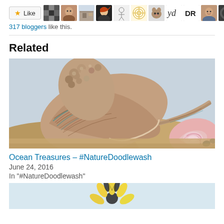[Figure (infographic): Like button with star icon and row of blogger avatar thumbnails]
317 bloggers like this.
Related
[Figure (illustration): Watercolor and ink illustration of ocean sea shells (conch/murex shells) on a beach, signed by artist]
Ocean Treasures – #NatureDoodlewash
June 24, 2016
In "#NatureDoodlewash"
[Figure (illustration): Partial watercolor illustration of a flower with yellow and black petals on light blue background]